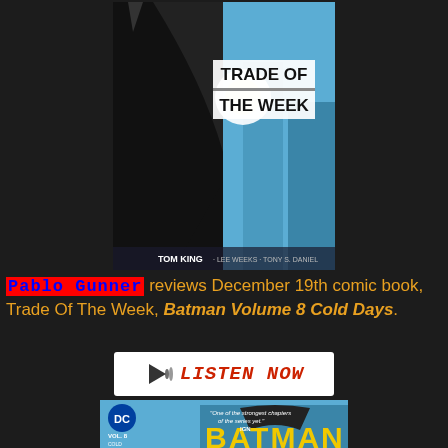[Figure (illustration): Comic book cover of Batman - Trade Of The Week, by Tom King. Blue background with Batman in dark costume, white text overlay reading TRADE OF THE WEEK. Tom King, Lee Weeks, Tony S. Daniel credited at bottom.]
Pablo Gunner reviews December 19th comic book, Trade Of The Week, Batman Volume 8 Cold Days.
[Figure (other): Listen Now button - white rectangular button with speaker icon and red italic text reading LISTEN NOW]
[Figure (illustration): Bottom portion of Batman Volume 8 Cold Days comic book cover showing DC logo, VOL. 8 COLD DAYS text, Batman logo, and BATMAN yellow text on blue background. Quote: One of the strongest chapters of the series yet. IGN]